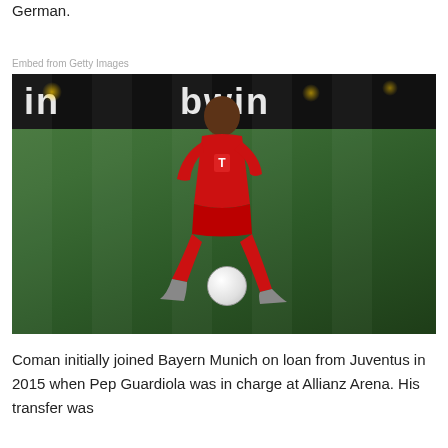German.
Embed from Getty Images
[Figure (photo): A Bayern Munich footballer in red kit dribbling on a green pitch, with an advertising board visible in the background.]
Coman initially joined Bayern Munich on loan from Juventus in 2015 when Pep Guardiola was in charge at Allianz Arena. His transfer was